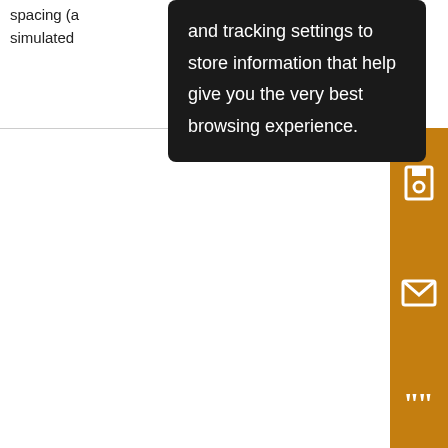spacing (a... simulated
and tracking settings to store information that help give you the very best browsing experience.
[Figure (screenshot): Orange sidebar with save, email, cite, edit, and share icons]
fou mix (0.0 25 s s⁻¹